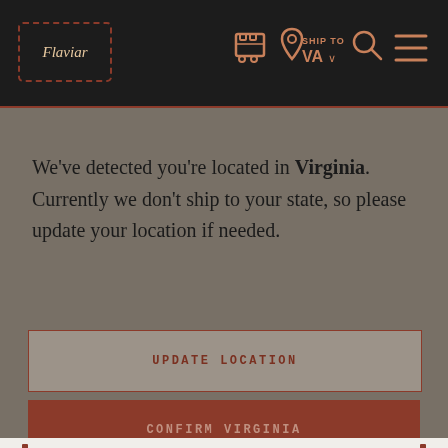[Figure (screenshot): Flaviar website navigation bar with logo, cart icon, ship to VA location indicator, search icon, and hamburger menu]
We've detected you're located in Virginia. Currently we don't ship to your state, so please update your location if needed.
UPDATE LOCATION
CONFIRM VIRGINIA
| Category | Rum |
| Country | Martinique |